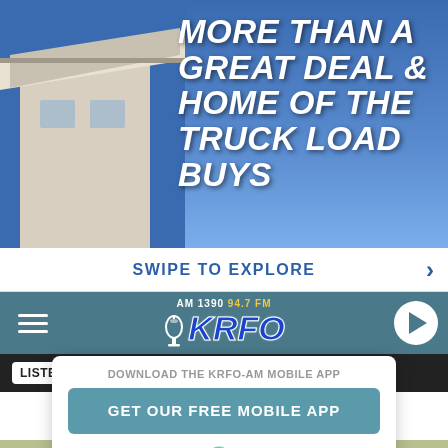[Figure (screenshot): Radio station website screenshot showing KRFO AM 1390 94.7 FM banner ad with building photo and text 'MORE THAN A GREAT DEAL & HOME OF THE TRUCK LOAD BUYS']
SWIPE TO EXPLORE
[Figure (logo): KRFO AM 1390 94.7 FM radio station logo with microphone icon]
LISTEN NOW ▶  OWATONNA'S GREATEST HITS
DOWNLOAD THE KRFO-AM MOBILE APP
GET OUR FREE MOBILE APP
Also listen on:  amazon alexa